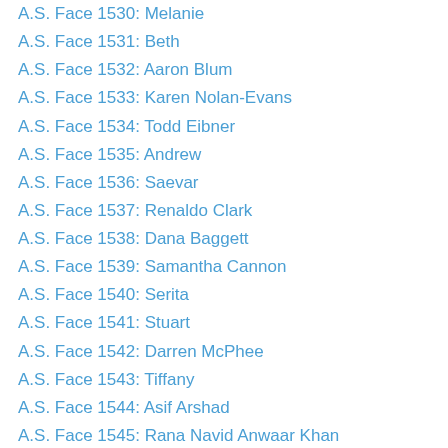A.S. Face 1530: Melanie
A.S. Face 1531: Beth
A.S. Face 1532: Aaron Blum
A.S. Face 1533: Karen Nolan-Evans
A.S. Face 1534: Todd Eibner
A.S. Face 1535: Andrew
A.S. Face 1536: Saevar
A.S. Face 1537: Renaldo Clark
A.S. Face 1538: Dana Baggett
A.S. Face 1539: Samantha Cannon
A.S. Face 1540: Serita
A.S. Face 1541: Stuart
A.S. Face 1542: Darren McPhee
A.S. Face 1543: Tiffany
A.S. Face 1544: Asif Arshad
A.S. Face 1545: Rana Navid Anwaar Khan
A.S. Face 1546: Abhi
A.S. Face 1547: Stacy
A.S. Face 1548: R.U.
A.S. Face 1549: Marisa M.